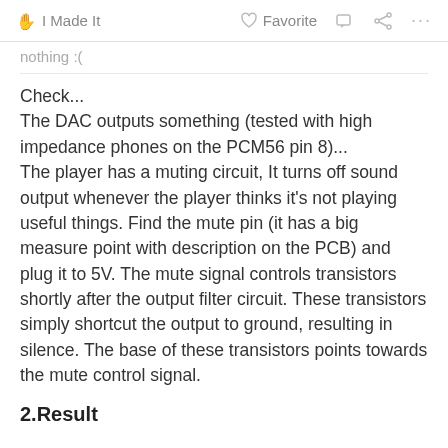I Made It   Favorite   ...
nothing :(
Check...
The DAC outputs something (tested with high impedance phones on the PCM56 pin 8)...
The player has a muting circuit, It turns off sound output whenever the player thinks it's not playing useful things. Find the mute pin (it has a big measure point with description on the PCB) and plug it to 5V. The mute signal controls transistors shortly after the output filter circuit. These transistors simply shortcut the output to ground, resulting in silence. The base of these transistors points towards the mute control signal.
2.Result